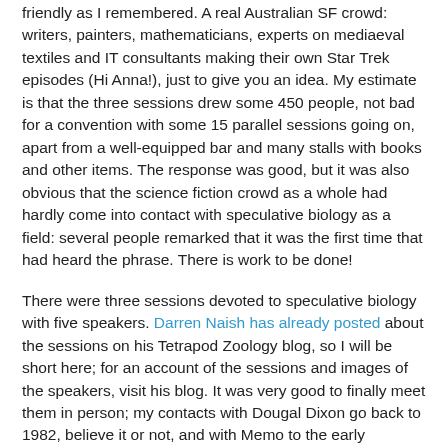friendly as I remembered. A real Australian SF crowd: writers, painters, mathematicians, experts on mediaeval textiles and IT consultants making their own Star Trek episodes (Hi Anna!), just to give you an idea. My estimate is that the three sessions drew some 450 people, not bad for a convention with some 15 parallel sessions going on, apart from a well-equipped bar and many stalls with books and other items. The response was good, but it was also obvious that the science fiction crowd as a whole had hardly come into contact with speculative biology as a field: several people remarked that it was the first time that had heard the phrase. There is work to be done!
There were three sessions devoted to speculative biology with five speakers. Darren Naish has already posted about the sessions on his Tetrapod Zoology blog, so I will be short here; for an account of the sessions and images of the speakers, visit his blog. It was very good to finally meet them in person; my contacts with Dougal Dixon go back to 1982, believe it or not, and with Memo to the early nineties, and still I had never seen one of them in person. We had to juggle a bit to make all five speakers fit in the first session, in part because we only learnt there and then that we had 15...